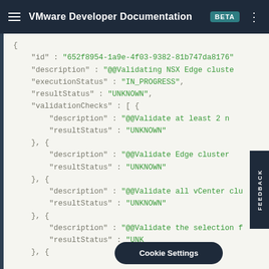VMware Developer Documentation BETA
[Figure (screenshot): JSON code block showing API response with fields: id, description, executionStatus, resultStatus, validationChecks array with multiple objects each having description and resultStatus fields. Values shown in green monospace text on light background.]